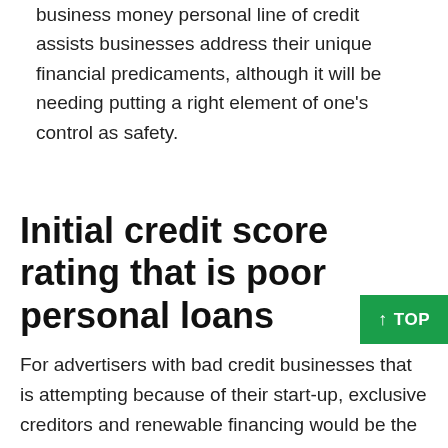business money personal line of credit assists businesses address their unique financial predicaments, although it will be needing putting a right element of one's control as safety.
Initial credit score rating that is poor personal loans
For advertisers with bad credit businesses that is attempting because of their start-up, exclusive creditors and renewable financing would be the most useful solutions. Just